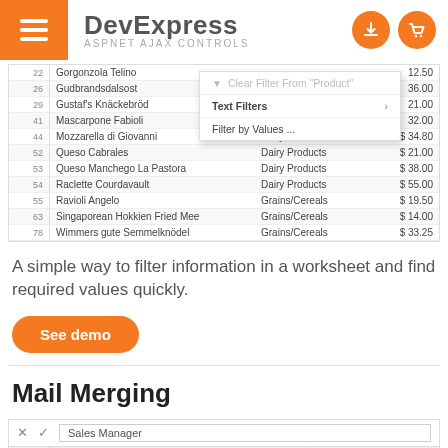DevExpress ASPNET AJAX CONTROLS
[Figure (screenshot): Spreadsheet grid with context menu showing filter options: 'Clear Filter From Product', 'Text Filters', 'Filter by Values...' overlaid on product data rows including Gorgonzola Telino, Gudbrandsdalsost, Gustaf's Knäckebröd, Mascarpone Fabioli, Mozzarella di Giovanni, Queso Cabrales, Queso Manchego La Pastora, Raclette Courdavault, Ravioli Angelo, Singaporean Hokkien Fried Mee, Wimmers gute Semmelknödel.]
A simple way to filter information in a worksheet and find required values quickly.
See demo
Mail Merging
[Figure (screenshot): Spreadsheet bottom portion showing formula bar with 'Sales Manager' text and column headers A, B, C]